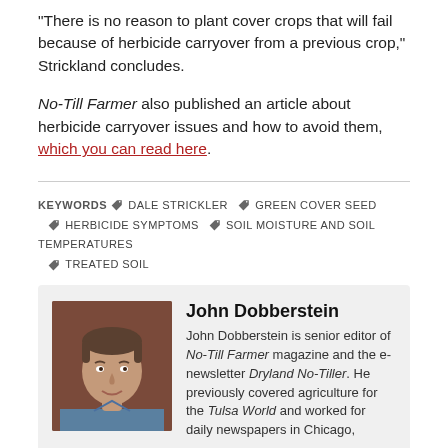"There is no reason to plant cover crops that will fail because of herbicide carryover from a previous crop," Strickland concludes.
No-Till Farmer also published an article about herbicide carryover issues and how to avoid them, which you can read here.
KEYWORDS  DALE STRICKLER  GREEN COVER SEED  HERBICIDE SYMPTOMS  SOIL MOISTURE AND SOIL TEMPERATURES  TREATED SOIL
John Dobberstein
[Figure (photo): Headshot of John Dobberstein, a middle-aged man with brown hair wearing a blue plaid shirt, smiling, against a dark reddish background.]
John Dobberstein is senior editor of No-Till Farmer magazine and the e-newsletter Dryland No-Tiller. He previously covered agriculture for the Tulsa World and worked for daily newspapers in Chicago, Milwaukee and St. Joseph, Mich. He graduated with a B.A. in journalism and political science from Central Michigan University.